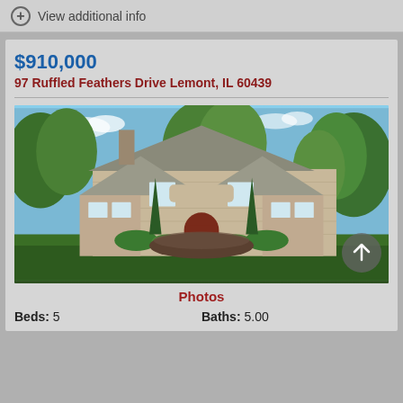View additional info
$910,000
97 Ruffled Feathers Drive Lemont, IL 60439
[Figure (photo): Exterior photo of a large two-story stone/brick house with green lawn, landscaped garden bed in front, large trees surrounding, blue sky with clouds, and a dark red front door. A scroll-up arrow button is overlaid at the bottom right.]
Photos
Beds: 5
Baths: 5.00